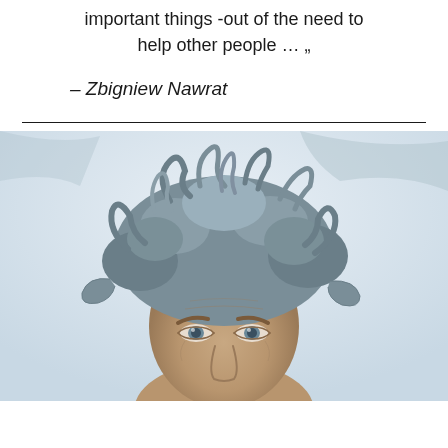important things -out of the need to help other people … „
– Zbigniew Nawrat
[Figure (photo): Close-up black and white portrait photo of a middle-aged man with wild, curly grey hair and blue eyes, looking directly at the camera against a light background.]